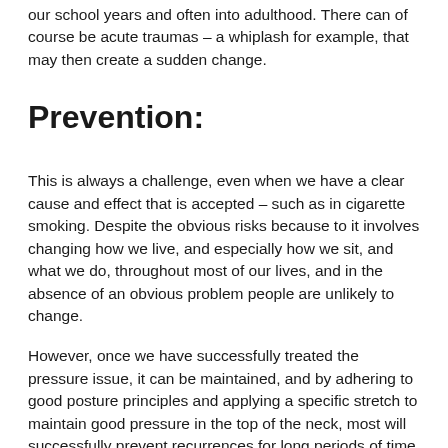our school years and often into adulthood. There can of course be acute traumas – a whiplash for example, that may then create a sudden change.
Prevention:
This is always a challenge, even when we have a clear cause and effect that is accepted – such as in cigarette smoking. Despite the obvious risks because to it involves changing how we live, and especially how we sit, and what we do, throughout most of our lives, and in the absence of an obvious problem people are unlikely to change.
However, once we have successfully treated the pressure issue, it can be maintained, and by adhering to good posture principles and applying a specific stretch to maintain good pressure in the top of the neck, most will successfully prevent recurrences for long periods of time.